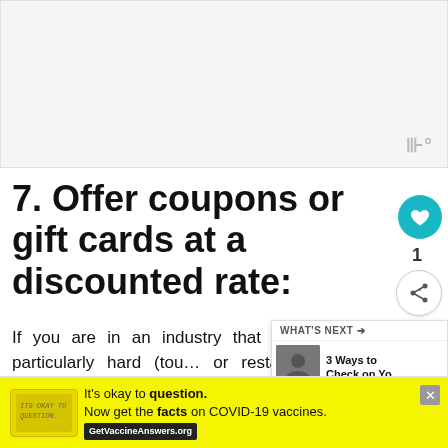[Figure (other): Advertisement placeholder banner, light gray background with small logo mark in bottom right corner]
7. Offer coupons or gift cards at a discounted rate:
If you are in an industry that has been hit particularly hard (tourism or restaurants) then consider offering gift cards that can be redeemed for future use. For my tours, I am offering using the code NYCSTRONG for all tour gift cards redeemable at any time.
[Figure (other): What's Next panel showing thumbnail and text '3 Ways to Check on Yo...']
[Figure (other): Bottom advertisement banner with yellow background: It's okay to question. Now get the facts on COVID-19 vaccines. GetVaccineAnswers.org]